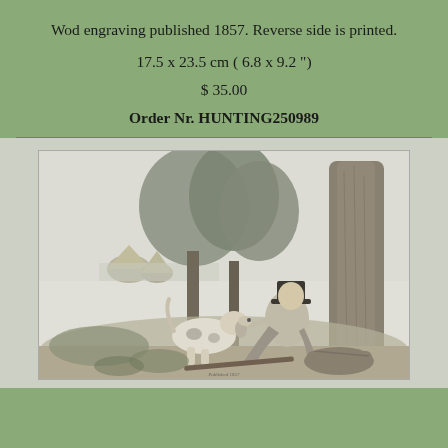Wod engraving published 1857. Reverse side is printed.
17.5 x 23.5 cm ( 6.8 x 9.2 ")
$ 35.00
Order Nr. HUNTING250989
[Figure (illustration): A 19th-century wood engraving published 1857 depicting a hunter seated against a large tree, wearing a top hat, feeding or interacting with a hunting dog (pointer). In the background are haystacks and a river/lake landscape. A game bag and hunting equipment lie on the ground near the man.]